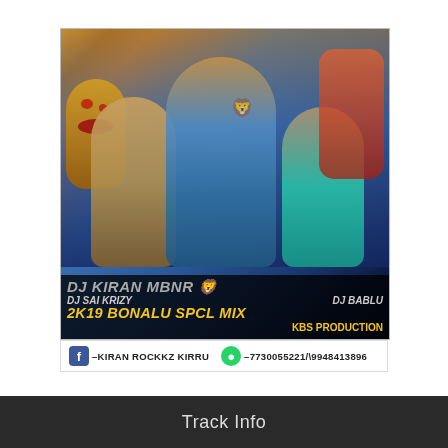[Figure (photo): DJ event promotional cover art showing three young men posing, with a demon mask on the left, a woman with a pot on her head on the right, and text overlays: DJ KIRAN MBNR, DJ SAI KRIZY, DJ BABLU, 2K19 BONALU SPCL MIX, KBS PRODUCTION]
f – KIRAN ROCKKZ KIRRU   [WhatsApp] – 7730055221/\9948413896
Track Info